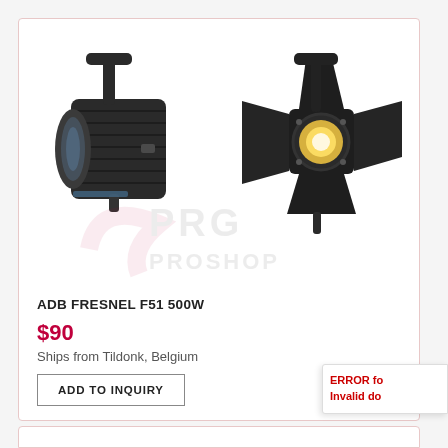[Figure (photo): Two stage lighting fixtures: a Fresnel spotlight (left) and a barndoor Fresnel fixture (right), both black, photographed on white background. PRG Proshop watermark visible in background.]
ADB FRESNEL F51 500W
$90
Ships from Tildonk, Belgium
ADD TO INQUIRY
ERROR fo
Invalid do